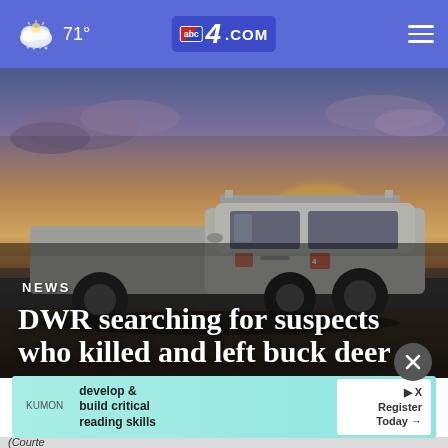71° abc4.com
[Figure (photo): A truck photographed in low light with a dramatic sunset sky in the background.]
NEWS
DWR searching for suspects who killed and left buck deer to waste
[Figure (infographic): Advertisement banner: Kumon - develop & build critical reading skills. Register Today.]
(Courte...